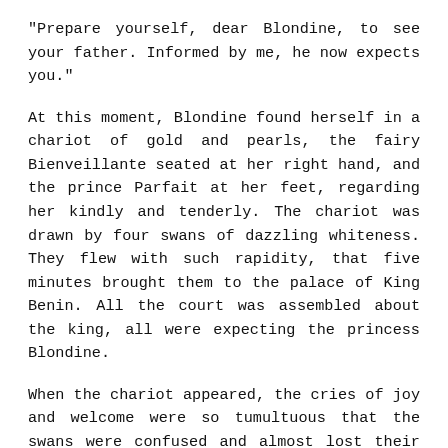"Prepare yourself, dear Blondine, to see your father. Informed by me, he now expects you."
At this moment, Blondine found herself in a chariot of gold and pearls, the fairy Bienveillante seated at her right hand, and the prince Parfait at her feet, regarding her kindly and tenderly. The chariot was drawn by four swans of dazzling whiteness. They flew with such rapidity, that five minutes brought them to the palace of King Benin. All the court was assembled about the king, all were expecting the princess Blondine.
When the chariot appeared, the cries of joy and welcome were so tumultuous that the swans were confused and almost lost their way. Prince Parfait, who guided them, succeeded in arresting their attention and the chariot drew up at the foot of the grand